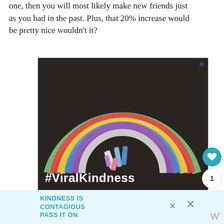one, then you will most likely make new friends just as you had in the past. Plus, that 20% increase would be pretty nice wouldn't it?
[Figure (photo): Chalk drawing of a colorful rainbow on dark asphalt with chalk sticks visible at the base, overlaid with the text '#ViralKindness' in bold white letters]
KINDNESS IS CONTAGIOUS PASS IT ON